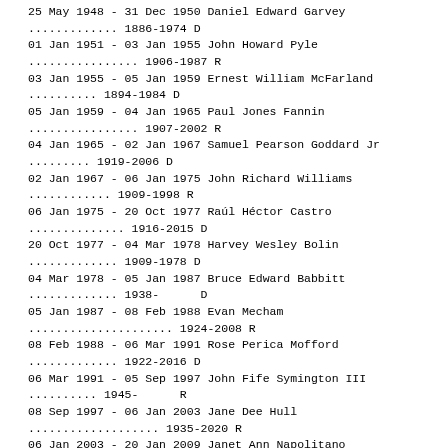25 May 1948 - 31 Dec 1950 Daniel Edward Garvey
............. 1886-1974 D
01 Jan 1951 - 03 Jan 1955 John Howard Pyle
................ 1906-1987 R
03 Jan 1955 - 05 Jan 1959 Ernest William McFarland
.......... 1894-1984 D
05 Jan 1959 - 04 Jan 1965 Paul Jones Fannin
................ 1907-2002 R
04 Jan 1965 - 02 Jan 1967 Samuel Pearson Goddard Jr
......... 1919-2006 D
02 Jan 1967 - 06 Jan 1975 John Richard Williams
............ 1909-1998 R
06 Jan 1975 - 20 Oct 1977 Raúl Héctor Castro
.............. 1916-2015 D
20 Oct 1977 - 04 Mar 1978 Harvey Wesley Bolin
............. 1909-1978 D
04 Mar 1978 - 05 Jan 1987 Bruce Edward Babbitt
............. 1938-      D
05 Jan 1987 - 08 Feb 1988 Evan Mecham
..................... 1924-2008 R
08 Feb 1988 - 06 Mar 1991 Rose Perica Mofford
............. 1922-2016 D
06 Mar 1991 - 05 Sep 1997 John Fife Symington III
.......... 1945-      R
08 Sep 1997 - 06 Jan 2003 Jane Dee Hull
................... 1935-2020 R
06 Jan 2003 - 20 Jan 2009 Janet Ann Napolitano
............ 1957-      D
20 Jan 2009 - 05 Jan 2015 Janice Kay Brewer
.............. 1944-      R
05 Jan 2015 -             Douglas A. Ducey